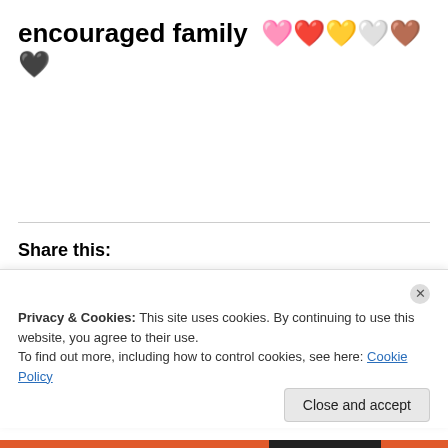encouraged family 🩷❤️💛🤍🤎🖤
Share this:
Twitter | Facebook | WhatsApp | Email | More
Privacy & Cookies: This site uses cookies. By continuing to use this website, you agree to their use. To find out more, including how to control cookies, see here: Cookie Policy
Close and accept